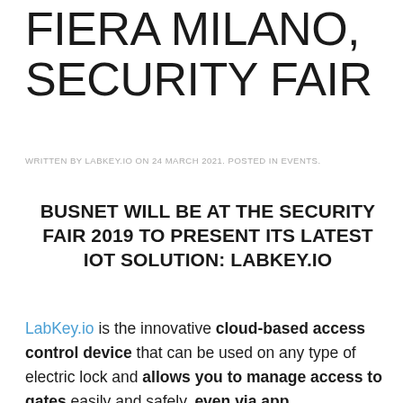FIERA MILANO, SECURITY FAIR
WRITTEN BY LABKEY.IO ON 24 MARCH 2021. POSTED IN EVENTS.
BUSNET WILL BE AT THE SECURITY FAIR 2019 TO PRESENT ITS LATEST IOT SOLUTION: LABKEY.IO
LabKey.io is the innovative cloud-based access control device that can be used on any type of electric lock and allows you to manage access to gates easily and safely, even via app.